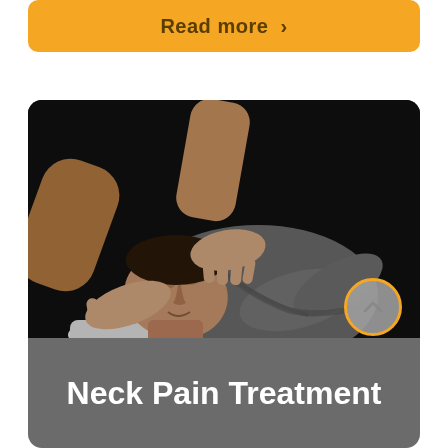Read more >
[Figure (photo): Chiropractic neck manipulation: a practitioner uses both hands to adjust the neck of a patient lying on a treatment table, dark background]
Neck Pain Treatment